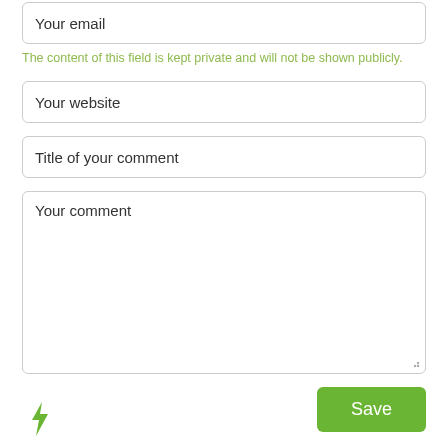Your email
The content of this field is kept private and will not be shown publicly.
Your website
Title of your comment
Your comment
Save
[Figure (logo): Green lightning bolt / leaf logo at bottom left]